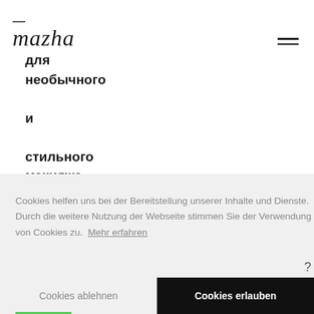[Figure (logo): Script/handwritten logo text 'mazha' with Russian text 'для необычного и стильного макияжа' below]
для необычного и стильного макияжа
Cookies helfen uns bei der Bereitstellung unserer Inhalte und Dienste. Durch die weitere Nutzung der Webseite stimmen Sie der Verwendung von Cookies zu.  Mehr erfahren
Cookies ablehnen
Cookies erlauben